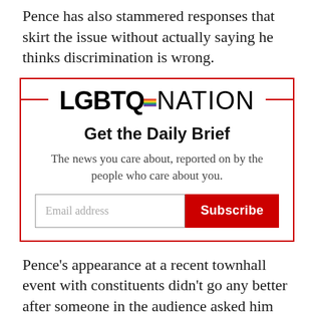Pence has also stammered responses that skirt the issue without actually saying he thinks discrimination is wrong.
[Figure (logo): LGBTQ Nation logo with rainbow flag detail in the Q, flanked by red horizontal lines forming a newsletter signup box border]
Get the Daily Brief
The news you care about, reported on by the people who care about you.
Pence's appearance at a recent townhall event with constituents didn't go any better after someone in the audience asked him about the issue.